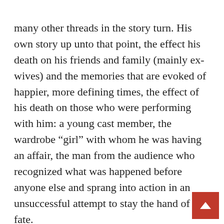many other threads in the story turn.  His own story up unto that point, the effect his death on his friends and family (mainly ex-wives) and the memories that are evoked of happier, more defining times, the effect of his death on those who were performing with him:  a young cast member, the wardrobe “girl” with whom he was having an affair, the man from the audience who recognized what was happened before anyone else and sprang into action in an unsuccessful attempt to stay the hand of fate.
Yet the ties that bind transcend more than mere memory.  The former love of the actor by purposeful chance meets with him shortly before his unexpected death and gifts him with the culmination of her labor of love that had consumed